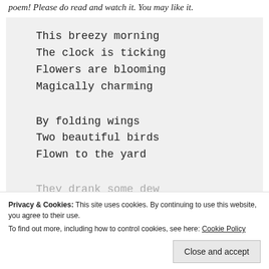poem! Please do read and watch it. You may like it.
This breezy morning
The clock is ticking
Flowers are blooming
Magically charming

By folding wings
Two beautiful birds
Flown to the yard

They drank some dew
Privacy & Cookies: This site uses cookies. By continuing to use this website, you agree to their use.
To find out more, including how to control cookies, see here: Cookie Policy
Close and accept